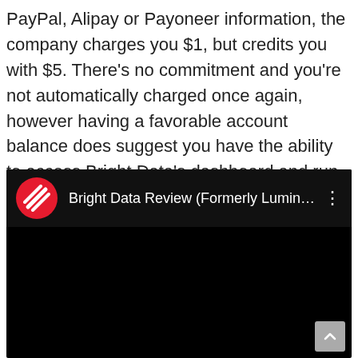PayPal, Alipay or Payoneer information, the company charges you $1, but credits you with $5. There's no commitment and you're not automatically charged once again, however having a favorable account balance does suggest you have the ability to access Bright Data's dashboard and run maybe 5-6GB of datacenter proxy texts.
[Figure (screenshot): YouTube-style embedded video player with black background showing 'Bright Data Review (Formerly Luminat...' title in header with a red circular logo containing white diagonal stripes (News app icon style), and a three-dot menu icon. A grey scroll-to-top button appears at the bottom right.]